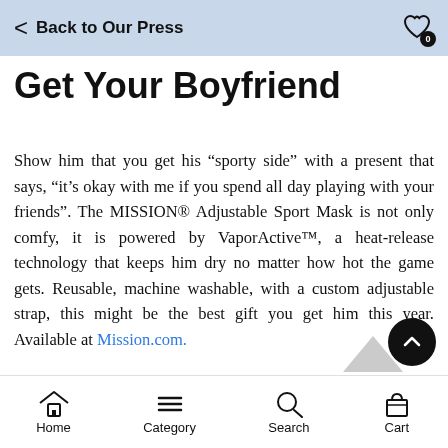Back to Our Press
Get Your Boyfriend
Show him that you get his “sporty side” with a present that says, “it’s okay with me if you spend all day playing with your friends”. The MISSION® Adjustable Sport Mask is not only comfy, it is powered by VaporActive™, a heat-release technology that keeps him dry no matter how hot the game gets. Reusable, machine washable, with a custom adjustable strap, this might be the best gift you get him this year. Available at Mission.com.
Home  Category  Search  Cart